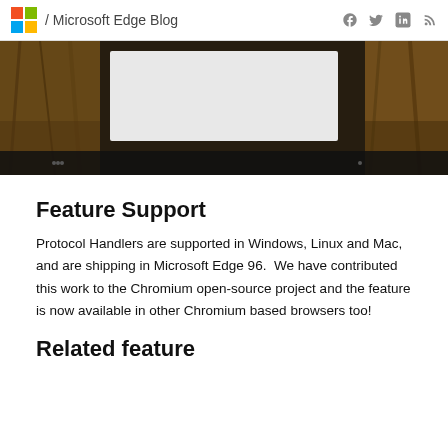/ Microsoft Edge Blog
[Figure (photo): Hero image showing a browser window with a nature/bark background image, partially obscured by a light gray overlay/modal in the center]
Feature Support
Protocol Handlers are supported in Windows, Linux and Mac, and are shipping in Microsoft Edge 96.  We have contributed this work to the Chromium open-source project and the feature is now available in other Chromium based browsers too!
Related feature